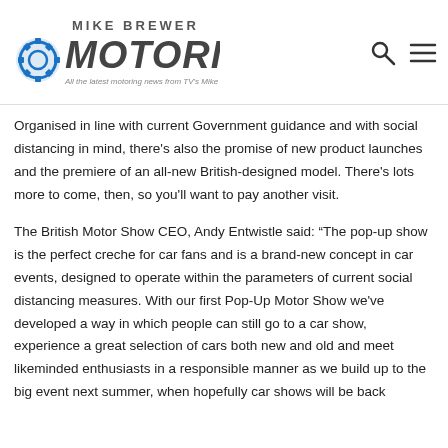[Figure (logo): Mike Brewer Motoring logo with tagline 'All the latest motoring news from TV's Mike Brewer']
Organised in line with current Government guidance and with social distancing in mind, there's also the promise of new product launches and the premiere of an all-new British-designed model. There's lots more to come, then, so you'll want to pay another visit.
The British Motor Show CEO, Andy Entwistle said: “The pop-up show is the perfect creche for car fans and is a brand-new concept in car events, designed to operate within the parameters of current social distancing measures. With our first Pop-Up Motor Show we've developed a way in which people can still go to a car show, experience a great selection of cars both new and old and meet likeminded enthusiasts in a responsible manner as we build up to the big event next summer, when hopefully car shows will be back